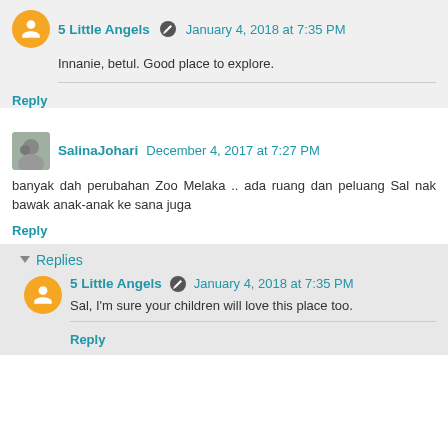5 Little Angels · January 4, 2018 at 7:35 PM
Innanie, betul. Good place to explore.
Reply
SalinaJohari December 4, 2017 at 7:27 PM
banyak dah perubahan Zoo Melaka .. ada ruang dan peluang Sal nak bawak anak-anak ke sana juga
Reply
Replies
5 Little Angels · January 4, 2018 at 7:35 PM
Sal, I'm sure your children will love this place too.
Reply